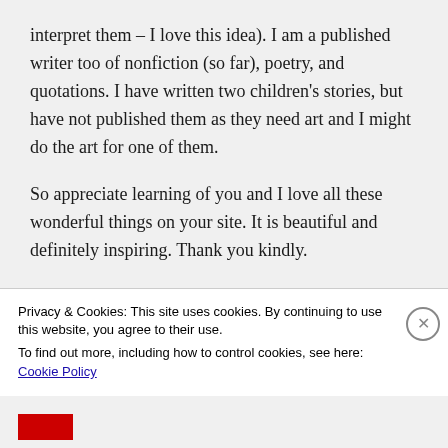interpret them – I love this idea). I am a published writer too of nonfiction (so far), poetry, and quotations. I have written two children's stories, but have not published them as they need art and I might do the art for one of them.
So appreciate learning of you and I love all these wonderful things on your site. It is beautiful and definitely inspiring. Thank you kindly.
Privacy & Cookies: This site uses cookies. By continuing to use this website, you agree to their use.
To find out more, including how to control cookies, see here: Cookie Policy
Close and accept